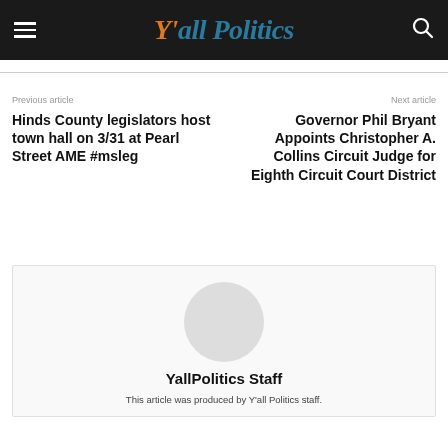Y'all Politics
Previous article
Hinds County legislators host town hall on 3/31 at Pearl Street AME #msleg
Next article
Governor Phil Bryant Appoints Christopher A. Collins Circuit Judge for Eighth Circuit Court District
YallPolitics Staff
This article was produced by Y'all Politics staff.